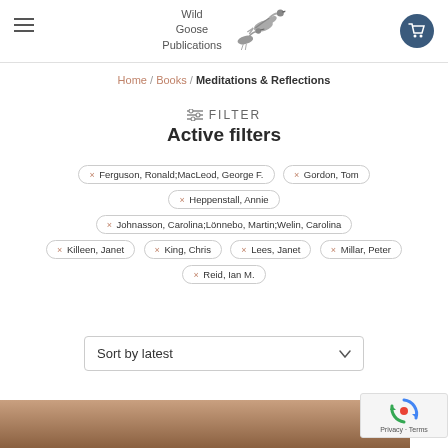[Figure (logo): Wild Goose Publications logo with flying geese illustration]
Home / Books / Meditations & Reflections
≡ FILTER
Active filters
x Ferguson, Ronald;MacLeod, George F.
x Gordon, Tom
x Heppenstall, Annie
x Johnasson, Carolina;Lönnebo, Martin;Welin, Carolina
x Killeen, Janet
x King, Chris
x Lees, Janet
x Millar, Peter
x Reid, Ian M.
Sort by latest